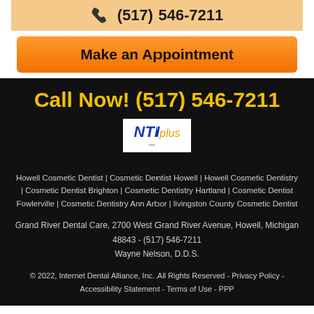(517) 546-7211
Make an Appointment
Call Now! (517) 546-7211
[Figure (logo): NTI plus logo in white box]
Howell Cosmetic Dentist | Cosmetic Dentist Howell | Howell Cosmetic Dentistry | Cosmetic Dentist Brighton | Cosmetic Dentistry Hartland | Cosmetic Dentist Fowlerville | Cosmetic Dentistry Ann Arbor | livingston County Cosmetic Dentist
Grand River Dental Care, 2700 West Grand River Avenue, Howell, Michigan 48843 - (517) 546-7211
Wayne Nelson, D.D.S.
© 2022, Internet Dental Alliance, Inc. All Rights Reserved - Privacy Policy - Accessibility Statement - Terms of Use - PPP